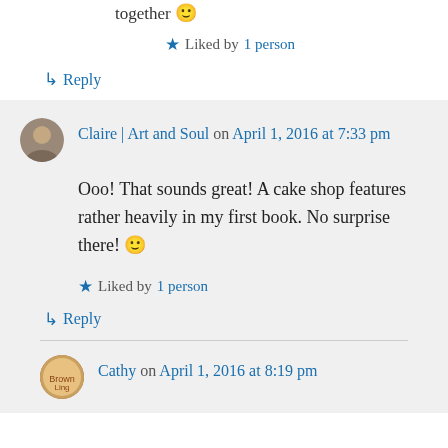together 🙂
★ Liked by 1 person
↳ Reply
Claire | Art and Soul on April 1, 2016 at 7:33 pm
Ooo! That sounds great! A cake shop features rather heavily in my first book. No surprise there! 🙂
★ Liked by 1 person
↳ Reply
Cathy on April 1, 2016 at 8:19 pm